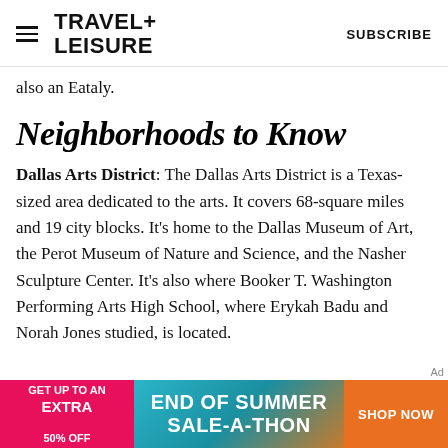TRAVEL+ LEISURE  SUBSCRIBE
also an Eataly.
Neighborhoods to Know
Dallas Arts District: The Dallas Arts District is a Texas-sized area dedicated to the arts. It covers 68-square miles and 19 city blocks. It's home to the Dallas Museum of Art, the Perot Museum of Nature and Science, and the Nasher Sculpture Center. It's also where Booker T. Washington Performing Arts High School, where Erykah Badu and Norah Jones studied, is located.
[Figure (infographic): Advertisement banner: GET UP TO AN EXTRA 50% OFF | END OF SUMMER SALE-A-THON | SHOP NOW]